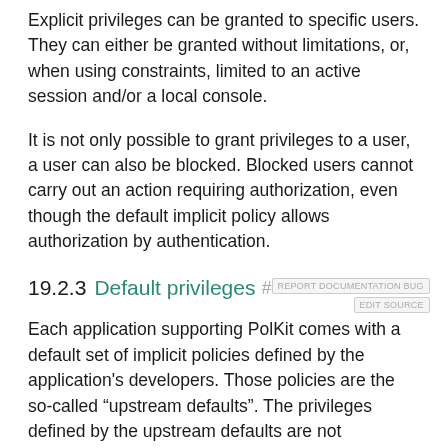Explicit privileges can be granted to specific users. They can either be granted without limitations, or, when using constraints, limited to an active session and/or a local console.
It is not only possible to grant privileges to a user, a user can also be blocked. Blocked users cannot carry out an action requiring authorization, even though the default implicit policy allows authorization by authentication.
19.2.3 Default privileges
Each application supporting PolKit comes with a default set of implicit policies defined by the application's developers. Those policies are the so-called “upstream defaults”. The privileges defined by the upstream defaults are not necessarily the ones that are activated by default on SUSE systems. openSUSE Leap comes with a predefined set of privileges that override the upstream defaults: